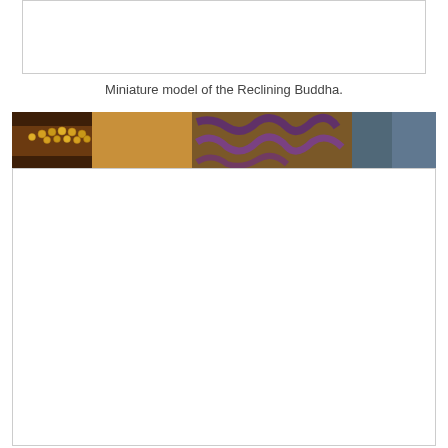[Figure (photo): Top portion of image showing miniature model of the Reclining Buddha, appears mostly white/cropped]
Miniature model of the Reclining Buddha.
[Figure (photo): Close-up horizontal strip photograph showing golden beaded necklace/decoration on a Buddha statue with colorful patterned textile/tapestry in the background with purple and orange designs]
[Figure (photo): Lower portion of image, appears mostly white/blank]